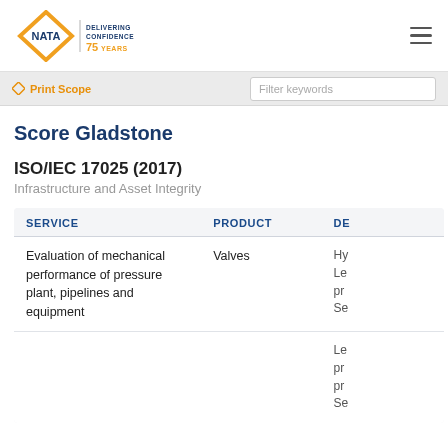[Figure (logo): NATA logo with orange diamond shape and text 'DELIVERING CONFIDENCE FOR 75 YEARS']
NATA — DELIVERING CONFIDENCE FOR 75 YEARS
Print Scope | Filter keywords
Score Gladstone
ISO/IEC 17025 (2017)
Infrastructure and Asset Integrity
| SERVICE | PRODUCT | DE |
| --- | --- | --- |
| Evaluation of mechanical performance of pressure plant, pipelines and equipment | Valves | Hy Le pr Se |
|  |  | Le pr pr Se |